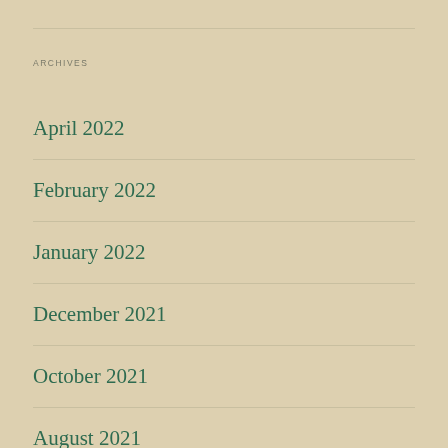ARCHIVES
April 2022
February 2022
January 2022
December 2021
October 2021
August 2021
May 2021